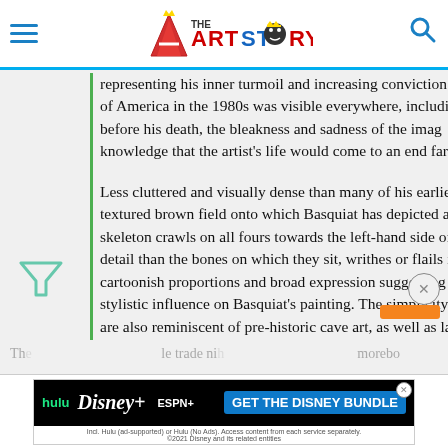The Art Story
representing his inner turmoil and increasing conviction of America in the 1980s was visible everywhere, including before his death, the bleakness and sadness of the imag knowledge that the artist's life would come to an end far
Less cluttered and visually dense than many of his earlie textured brown field onto which Basquiat has depicted an skeleton crawls on all fours towards the left-hand side of detail than the bones on which they sit, writhes or flails it cartoonish proportions and broad expression suggesting stylistic influence on Basquiat's painting. The simplicity o are also reminiscent of pre-historic cave art, as well as la African figure is indistinct, its features obscured by black forehead.
[Figure (screenshot): Advertisement for Disney Bundle featuring Hulu, Disney+, and ESPN+ logos with 'GET THE DISNEY BUNDLE' call to action]
The ... le traded ni... morebof